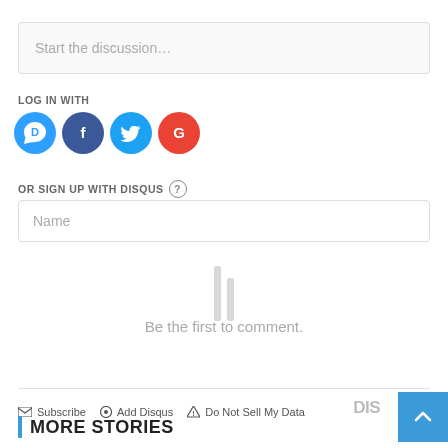Start the discussion…
LOG IN WITH
[Figure (infographic): Four social login icons: Disqus (blue speech bubble with D), Facebook (dark blue circle with f), Twitter (light blue circle with bird), Google (red circle with G)]
OR SIGN UP WITH DISQUS ?
Name
[Figure (infographic): Disqus watermark / loading indicator showing two thin vertical bars]
Be the first to comment.
Subscribe  Add Disqus  Do Not Sell My Data
DIS
MORE STORIES